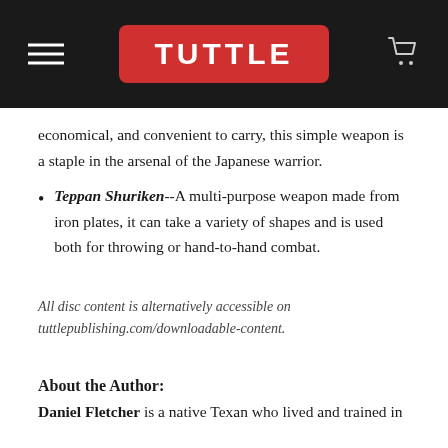TUTTLE
economical, and convenient to carry, this simple weapon is a staple in the arsenal of the Japanese warrior.
Teppan Shuriken--A multi-purpose weapon made from iron plates, it can take a variety of shapes and is used both for throwing or hand-to-hand combat.
All disc content is alternatively accessible on tuttlepublishing.com/downloadable-content.
About the Author:
Daniel Fletcher is a native Texan who lived and trained in